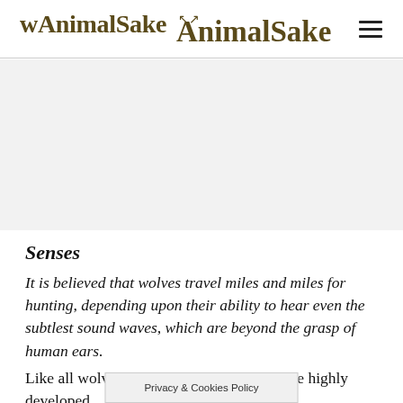AnimalSake
[Figure (other): Advertisement banner area (gray placeholder)]
Senses
It is believed that wolves travel miles and miles for hunting, depending upon their ability to hear even the subtlest sound waves, which are beyond the grasp of human ears.
Like all wolves, even the arctic wolves have highly developed senses, their keenest one.
Privacy & Cookies Policy